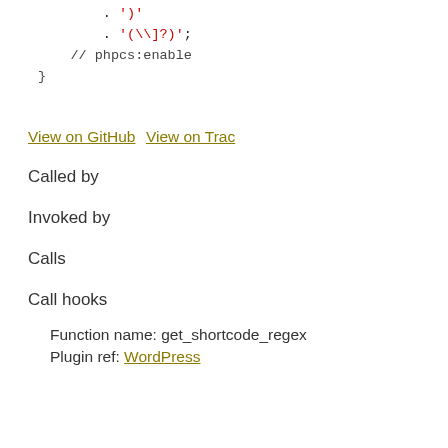. ')'
. '(\\]?)';
// phpcs:enable
}
View on GitHub  View on Trac
Called by
Invoked by
Calls
Call hooks
Function name: get_shortcode_regex
Plugin ref: WordPress